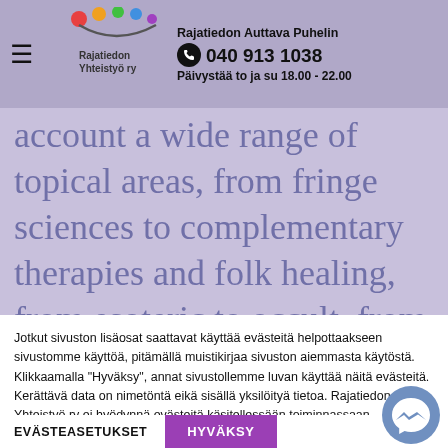Rajatiedon Auttava Puhelin 040 913 1038 Päivystää to ja su 18.00 - 22.00
account a wide range of topical areas, from fringe sciences to complementary therapies and folk healing, from esoteric to occult, from mysticism to new religious movements with an emphasis on spiritual aspects, from mental exercises to holistic health, from self-help to certain alternative
Jotkut sivuston lisäosat saattavat käyttää evästeitä helpottaakseen sivustomme käyttöä, pitämällä muistikirjaa sivuston aiemmasta käytöstä. Klikkaamalla "Hyväksy", annat sivustollemme luvan käyttää näitä evästeitä. Kerättävä data on nimetöntä eikä sisällä yksilöityä tietoa. Rajatiedon Yhteistyö ry ei hyödynnä evästeitä käsitellessään toiminnassaan asiakkaiden, sidosryhmien ja muiden kävijöiden henkilötietoja. Tietosuojaseloste.
EVÄSTEASETUKSET
HYVÄKSY